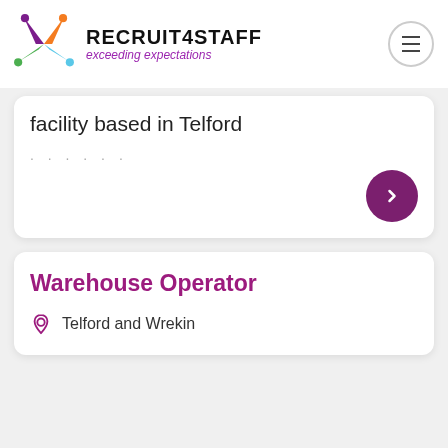[Figure (logo): Recruit4Staff logo with colorful star/people figure and text 'RECRUIT4STAFF exceeding expectations']
facility based in Telford
......
Warehouse Operator
Telford and Wrekin